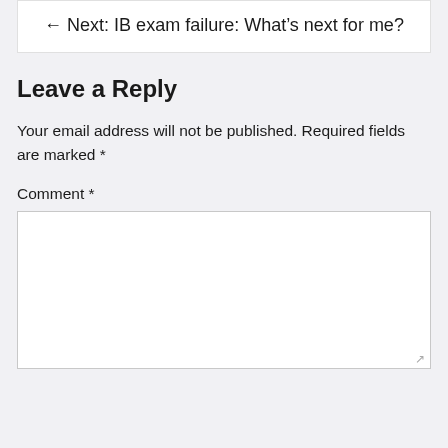← Next: IB exam failure: What's next for me?
Leave a Reply
Your email address will not be published. Required fields are marked *
Comment *